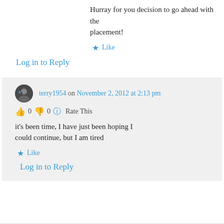Hurray for you decision to go ahead with the placement!
★ Like
Log in to Reply
terry1954 on November 2, 2012 at 2:13 pm
👍 0 👎 0 ℹ Rate This
it's been time, I have just been hoping I could continue, but I am tired
★ Like
Log in to Reply